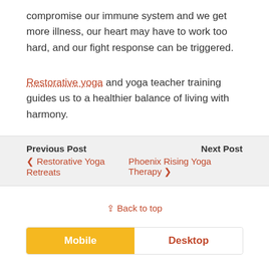compromise our immune system and we get more illness, our heart may have to work too hard, and our fight response can be triggered.
Restorative yoga and yoga teacher training guides us to a healthier balance of living with harmony.
Previous Post ‹ Restorative Yoga Retreats | Next Post Phoenix Rising Yoga Therapy ›
⇪ Back to top
Mobile | Desktop